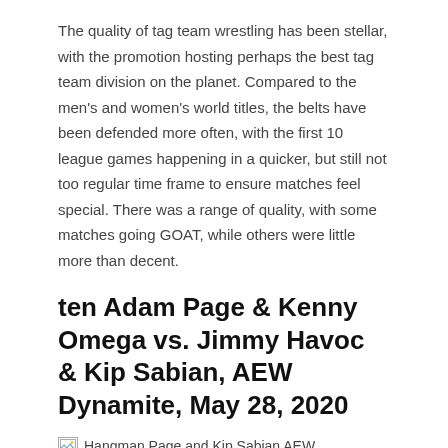The quality of tag team wrestling has been stellar, with the promotion hosting perhaps the best tag team division on the planet. Compared to the men's and women's world titles, the belts have been defended more often, with the first 10 league games happening in a quicker, but still not too regular time frame to ensure matches feel special. There was a range of quality, with some matches going GOAT, while others were little more than decent.
ten Adam Page & Kenny Omega vs. Jimmy Havoc & Kip Sabian, AEW Dynamite, May 28, 2020
[Figure (photo): Image placeholder showing broken image icon with alt text: Hangman Page and Kip Sabian AEW]